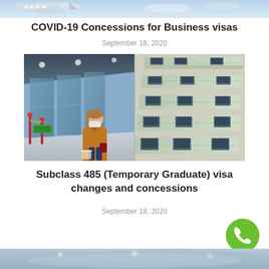[Figure (photo): Partial top banner image of an airplane or airport scene]
COVID-19 Concessions for Business visas
September 18, 2020
[Figure (photo): Woman wearing a face mask standing in an airport terminal holding a passport and luggage, with check-in counters visible in the background]
Subclass 485 (Temporary Graduate) visa changes and concessions
September 18, 2020
[Figure (photo): Bottom partial banner image of an airport scene]